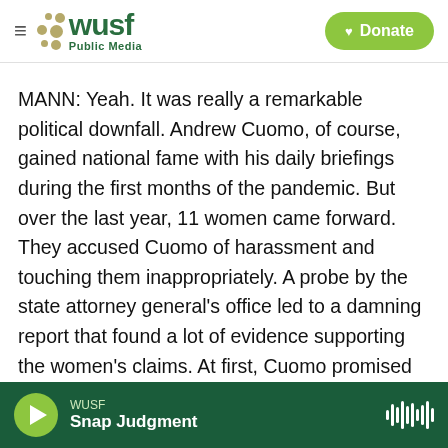[Figure (logo): WUSF Public Media logo with hamburger menu icon on the left and green Donate button on the right]
MANN: Yeah. It was really a remarkable political downfall. Andrew Cuomo, of course, gained national fame with his daily briefings during the first months of the pandemic. But over the last year, 11 women came forward. They accused Cuomo of harassment and touching them inappropriately. A probe by the state attorney general's office led to a damning report that found a lot of evidence supporting the women's claims. At first, Cuomo promised to fight, to stay in office. But when it became clear he'd be impeached and removed from office by his fellow Democrats in the
WUSF
Snap Judgment